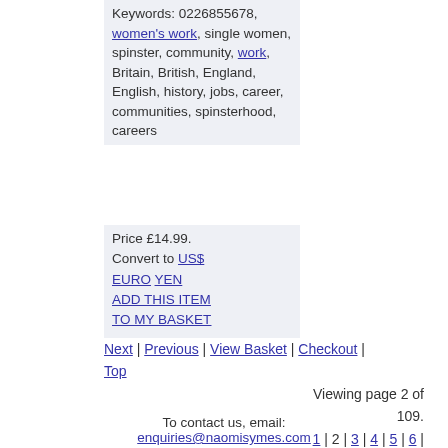Keywords: 0226855678, women's work, single women, spinster, community, work, Britain, British, England, English, history, jobs, career, communities, spinsterhood, careers
Price £14.99. Convert to US$ EURO YEN ADD THIS ITEM TO MY BASKET
Viewing page 2 of 109. Next | Previous | View Basket | Checkout | 1 | 2 | 3 | 4 | 5 | 6 | 7 | 8 | 9 | 10 ... 109 Top
To contact us, email: enquiries@naomisymes.com